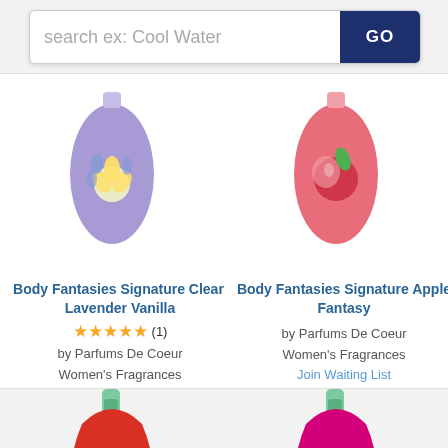[Figure (screenshot): Search bar with placeholder text 'search ex: Cool Water' and a dark blue GO button]
[Figure (photo): Body Fantasies Signature Clean Lavender Vanilla fragrance bottle - purple/lavender colored bottle with flower design]
Body Fantasies Signature Clean Lavender Vanilla
★★★★★ (1)
by Parfums De Coeur
Women's Fragrances
Join Waiting List
[Figure (photo): Body Fantasies Signature Apple Fantasy fragrance bottle - pink/coral colored bottle with apple design]
Body Fantasies Signature Apple Fantasy
by Parfums De Coeur
Women's Fragrances
Join Waiting List
[Figure (photo): Body Fantasies Sweet Musk Fantasy fragrance bottle - red curved bottle with green spray cap, partially visible]
[Figure (photo): Body Fantasies Raspberry Fantasy fragrance bottle - pink/magenta curved bottle with green spray cap, partially visible]